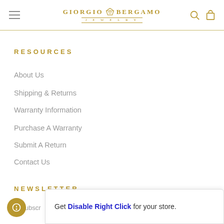GIORGIO BERGAMO JEWELRY
RESOURCES
About Us
Shipping & Returns
Warranty Information
Purchase A Warranty
Submit A Return
Contact Us
NEWSLETTER
ur subscr
Get Disable Right Click for your store.